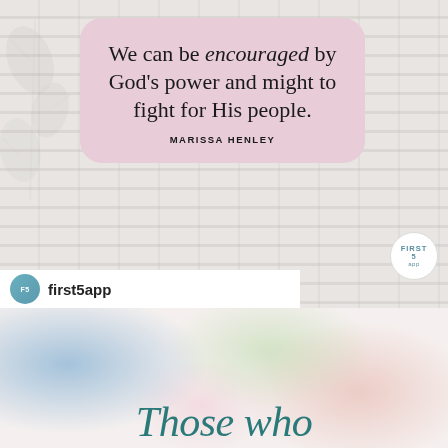[Figure (photo): White brick wall background with shadow of leaves on the left side. A pink rounded-corner card contains a quote reading 'We can be encouraged by God's power and might to fight for His people.' attributed to MARISSA HENLEY. A First 5 app circular badge is visible in the lower right of the image. A white bar at the bottom shows the first5app logo and name.]
first5app
[Figure (illustration): Watercolor background with blue, green, pink and peach blended washes. Partial text 'Those who' appears in teal italic script at the bottom.]